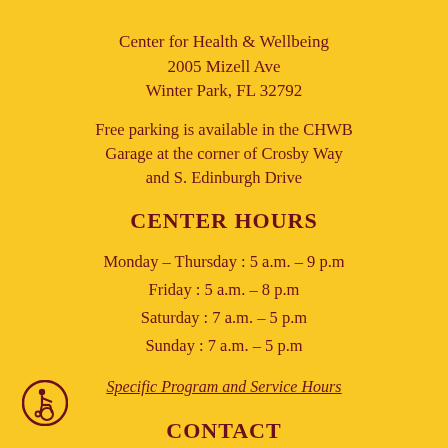Center for Health & Wellbeing
2005 Mizell Ave
Winter Park, FL 32792
Free parking is available in the CHWB Garage at the corner of Crosby Way and S. Edinburgh Drive
CENTER HOURS
Monday – Thursday : 5 a.m. – 9 p.m
Friday : 5 a.m. – 8 p.m
Saturday : 7 a.m. – 5 p.m
Sunday : 7 a.m. – 5 p.m
Specific Program and Service Hours
[Figure (illustration): Wheelchair accessibility icon — white figure in wheelchair on circular outline]
CONTACT